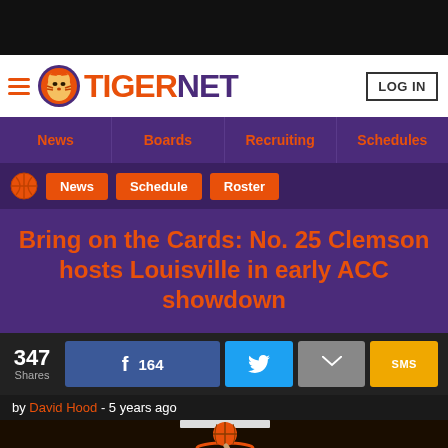[Figure (logo): TigerNet website header with tiger logo, hamburger menu, TIGERNET wordmark in orange and purple, and LOG IN button]
News  Boards  Recruiting  Schedules
News  Schedule  Roster
Bring on the Cards: No. 25 Clemson hosts Louisville in early ACC showdown
347 Shares  164  by David Hood - 5 years ago
[Figure (photo): Basketball going through a hoop/net at a Clemson game]